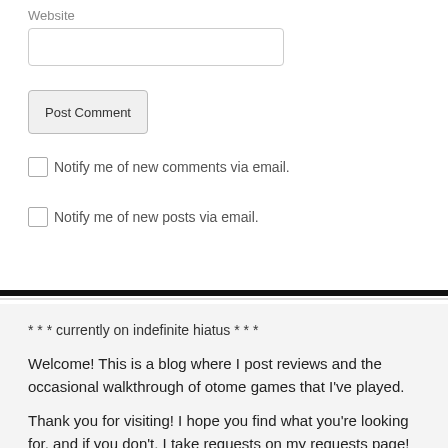Website
Post Comment
Notify me of new comments via email.
Notify me of new posts via email.
* * * currently on indefinite hiatus * * *
Welcome! This is a blog where I post reviews and the occasional walkthrough of otome games that I've played.
Thank you for visiting! I hope you find what you're looking for, and if you don't, I take requests on my requests page! Just comment and I'll try to get back to you as soon as I can ( ´▽` )